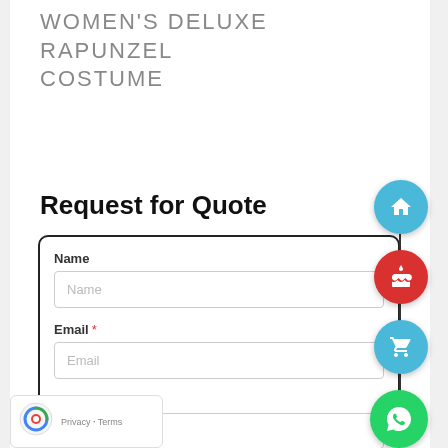WOMEN'S DELUXE RAPUNZEL COSTUME
Request for Quote
Name
Name (placeholder)
Email *
Email (placeholder)
Message
Message (placeholder)
[Figure (infographic): Floating action buttons on the right side: home icon (blue circle), birthday/cake icon (red circle), shopping cart icon (blue circle), WhatsApp icon (green circle)]
[Figure (logo): Google reCAPTCHA badge with Privacy and Terms links]